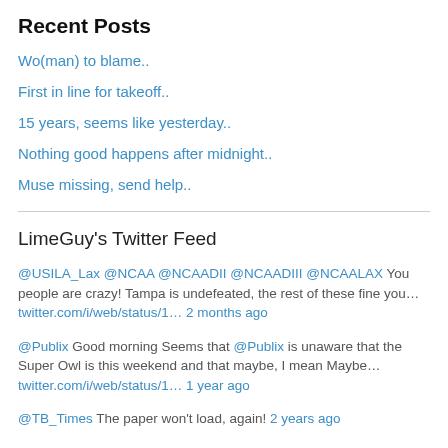Recent Posts
Wo(man) to blame..
First in line for takeoff..
15 years, seems like yesterday..
Nothing good happens after midnight..
Muse missing, send help..
LimeGuy's Twitter Feed
@USILA_Lax @NCAA @NCAADII @NCAADIII @NCAALAX You people are crazy! Tampa is undefeated, the rest of these fine you… twitter.com/i/web/status/1… 2 months ago
@Publix Good morning Seems that @Publix is unaware that the Super Owl is this weekend and that maybe, I mean Maybe… twitter.com/i/web/status/1… 1 year ago
@TB_Times The paper won't load, again! 2 years ago
Hey, My E newspaper won't load! Help! 2 years ago